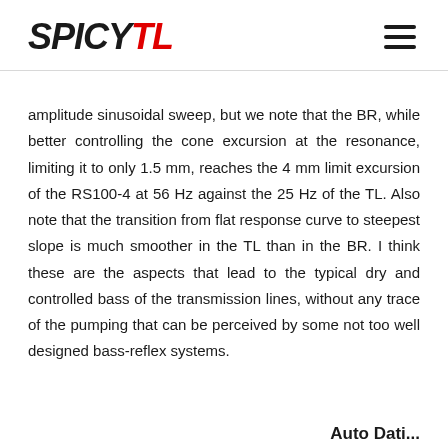SPICYTL
amplitude sinusoidal sweep, but we note that the BR, while better controlling the cone excursion at the resonance, limiting it to only 1.5 mm, reaches the 4 mm limit excursion of the RS100-4 at 56 Hz against the 25 Hz of the TL. Also note that the transition from flat response curve to steepest slope is much smoother in the TL than in the BR. I think these are the aspects that lead to the typical dry and controlled bass of the transmission lines, without any trace of the pumping that can be perceived by some not too well designed bass-reflex systems.
Auto Dati...